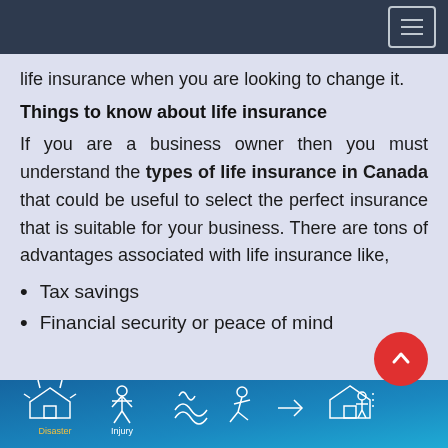life insurance when you are looking to change it.
Things to know about life insurance
If you are a business owner then you must understand the types of life insurance in Canada that could be useful to select the perfect insurance that is suitable for your business. There are tons of advantages associated with life insurance like,
Tax savings
Financial security or peace of mind
[Figure (infographic): Blue banner infographic showing insurance-related icons including disaster, injury, and other insurance categories with white line art icons on a blue gradient background.]